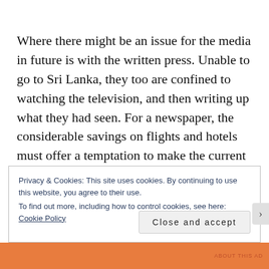Where there might be an issue for the media in future is with the written press. Unable to go to Sri Lanka, they too are confined to watching the television, and then writing up what they had seen. For a newspaper, the considerable savings on flights and hotels must offer a temptation to make the current enforced policy an optional one. There will undoubtedly be howls of protest that not being present will deny them access to the players or to
Privacy & Cookies: This site uses cookies. By continuing to use this website, you agree to their use.
To find out more, including how to control cookies, see here: Cookie Policy
Close and accept